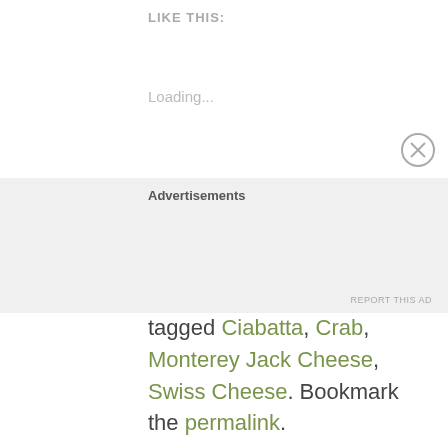LIKE THIS:
Loading...
This entry was posted in Sandwiches, Seafood and tagged Ciabatta, Crab, Monterey Jack Cheese, Swiss Cheese. Bookmark the permalink.
Previous post
Next post
Advertisements
REPORT THIS AD